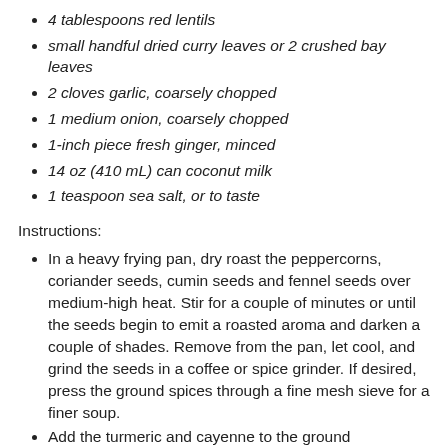4 tablespoons red lentils
small handful dried curry leaves or 2 crushed bay leaves
2 cloves garlic, coarsely chopped
1 medium onion, coarsely chopped
1-inch piece fresh ginger, minced
14 oz (410 mL) can coconut milk
1 teaspoon sea salt, or to taste
Instructions:
In a heavy frying pan, dry roast the peppercorns, coriander seeds, cumin seeds and fennel seeds over medium-high heat. Stir for a couple of minutes or until the seeds begin to emit a roasted aroma and darken a couple of shades. Remove from the pan, let cool, and grind the seeds in a coffee or spice grinder. If desired, press the ground spices through a fine mesh sieve for a finer soup.
Add the turmeric and cayenne to the ground...